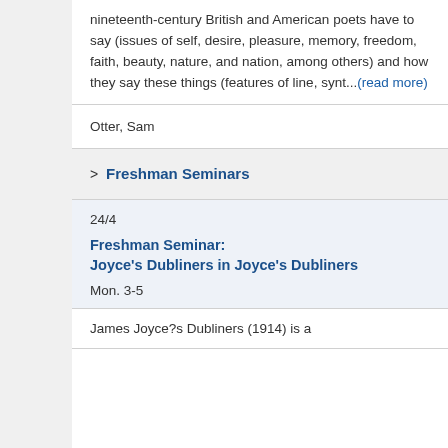nineteenth-century British and American poets have to say (issues of self, desire, pleasure, memory, freedom, faith, beauty, nature, and nation, among others) and how they say these things (features of line, synt...(read more)
Otter, Sam
> Freshman Seminars
24/4
Freshman Seminar: Joyce's Dubliners in Joyce's Dubliners
Mon. 3-5
James Joyce?s Dubliners (1914) is a